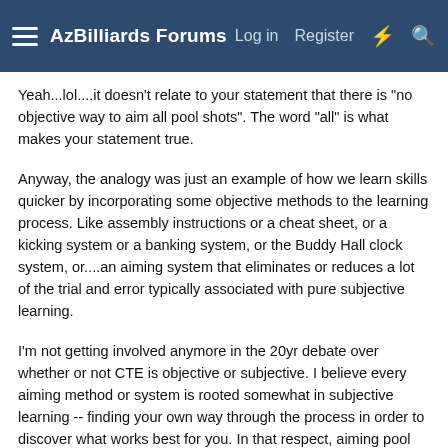AzBilliards Forums  Log in  Register
Yeah...lol....it doesn't relate to your statement that there is "no objective way to aim all pool shots". The word "all" is what makes your statement true.
Anyway, the analogy was just an example of how we learn skills quicker by incorporating some objective methods to the learning process. Like assembly instructions or a cheat sheet, or a kicking system or a banking system, or the Buddy Hall clock system, or....an aiming system that eliminates or reduces a lot of the trial and error typically associated with pure subjective learning.
I'm not getting involved anymore in the 20yr debate over whether or not CTE is objective or subjective. I believe every aiming method or system is rooted somewhat in subjective learning -- finding your own way through the process in order to discover what works best for you. In that respect, aiming pool shots seems to require a mix of methods and experience.